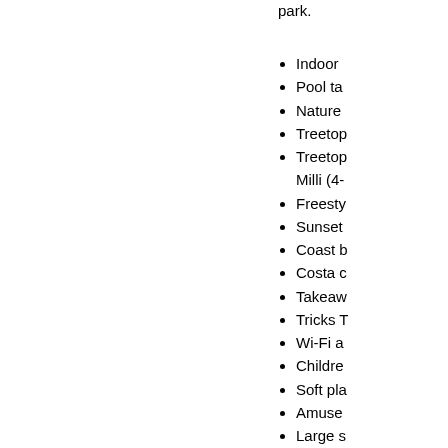park.
Indoor
Pool ta
Nature
Treetop
Treetop Milli (4-
Freesty
Sunset
Coast b
Costa c
Takeaw
Tricks T
Wi-Fi a
Childre
Soft pla
Amuse
Large s
Crazy g
Mini su
Launde